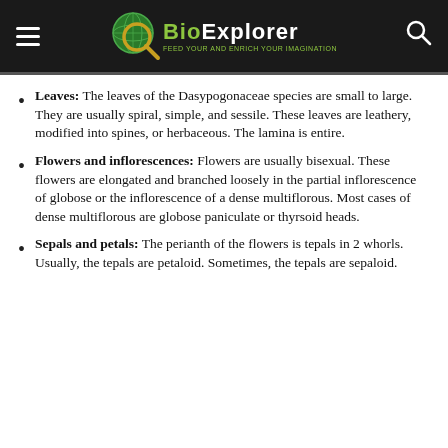BioExplorer
Leaves: The leaves of the Dasypogonaceae species are small to large. They are usually spiral, simple, and sessile. These leaves are leathery, modified into spines, or herbaceous. The lamina is entire.
Flowers and inflorescences: Flowers are usually bisexual. These flowers are elongated and branched loosely in the partial inflorescence of globose or the inflorescence of a dense multiflorous. Most cases of dense multiflorous are globose paniculate or thyrsoid heads.
Sepals and petals: The perianth of the flowers is tepals in 2 whorls. Usually, the tepals are petaloid. Sometimes, the tepals are sepaloid.